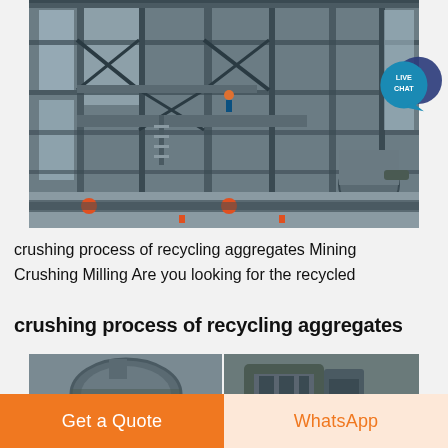[Figure (photo): Interior of a large industrial facility showing a multi-story steel frame structure with conveyor systems, stairs, windows, and industrial machinery including pipes and processing equipment]
crushing process of recycling aggregates Mining Crushing Milling Are you looking for the recycled
crushing process of recycling aggregates
[Figure (photo): Two side-by-side photos of industrial crushing/milling machinery — left shows a large cylindrical crusher vessel, right shows heavy-duty crushing equipment]
Get a Quote
WhatsApp